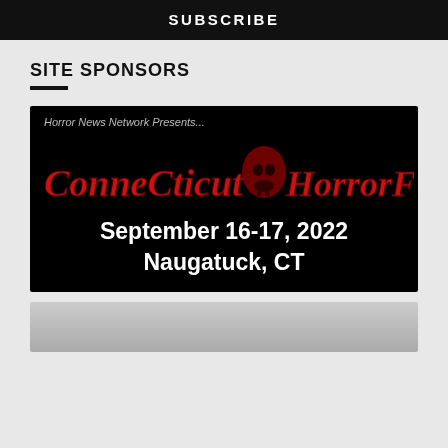SUBSCRIBE
SITE SPONSORS
[Figure (illustration): Connecticut HorrorFest advertisement banner. Black background with stylized horror text reading 'Connecticut HorrorFest' in red gothic lettering with a skull image in the center. Below reads 'September 16-17, 2022 Naugatuck, CT' in bold white text. Top left reads 'Horror News Network Presents...']
[Figure (illustration): Second sponsor image partially visible, gray gradient background, content cut off at page bottom.]